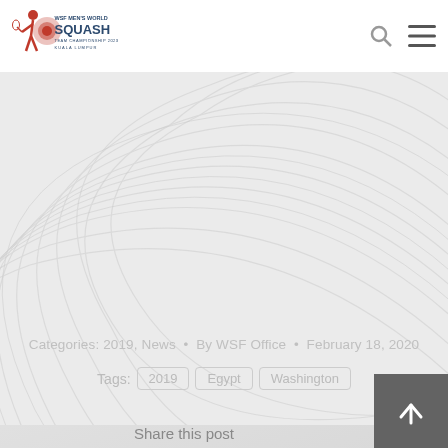WSF Men's World Squash Team Championship 2023 Kuala Lumpur
[Figure (illustration): Decorative swirl/wave pattern background in light grey tones covering most of the page]
Categories: 2019, News • By WSF Office • February 18, 2020
Tags: 2019  Egypt  Washington
Share this post